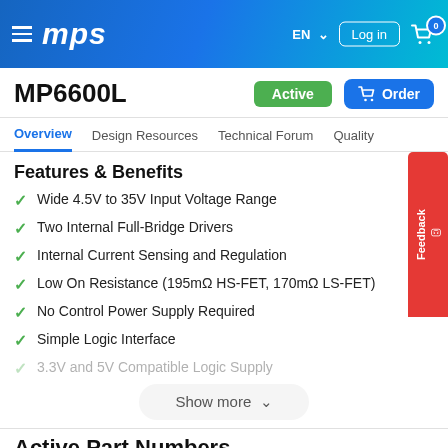MPS
MP6600L
Active | Order
Overview | Design Resources | Technical Forum | Quality
Features & Benefits
Wide 4.5V to 35V Input Voltage Range
Two Internal Full-Bridge Drivers
Internal Current Sensing and Regulation
Low On Resistance (195mΩ HS-FET, 170mΩ LS-FET)
No Control Power Supply Required
Simple Logic Interface
3.3V and 5V Compatible Logic Supply
Show more
Active Part Numbers